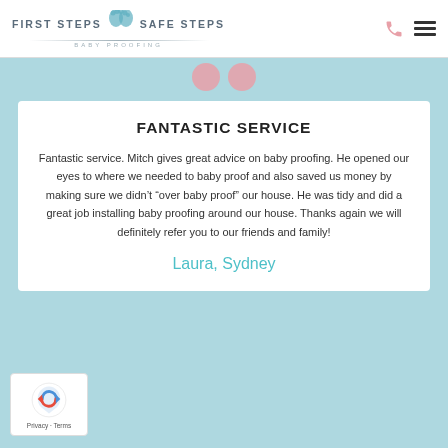FIRST STEPS SAFE STEPS - BABY PROOFING
FANTASTIC SERVICE
Fantastic service. Mitch gives great advice on baby proofing. He opened our eyes to where we needed to baby proof and also saved us money by making sure we didn’t “over baby proof” our house. He was tidy and did a great job installing baby proofing around our house. Thanks again we will definitely refer you to our friends and family!
Laura, Sydney